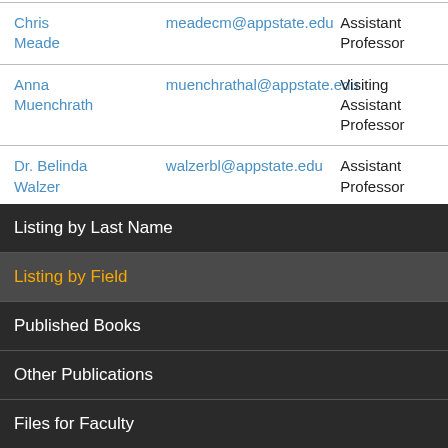| Name | Email | Title |
| --- | --- | --- |
| Chris Meade | meadecm@appstate.edu | Assistant Professor |
| Anna Muenchrath | muenchrathal@appstate.edu | Visiting Assistant Professor |
| Dr. Belinda Walzer | walzerbl@appstate.edu | Assistant Professor |
Listing by Last Name
Listing by Field
Published Books
Other Publications
Files for Faculty